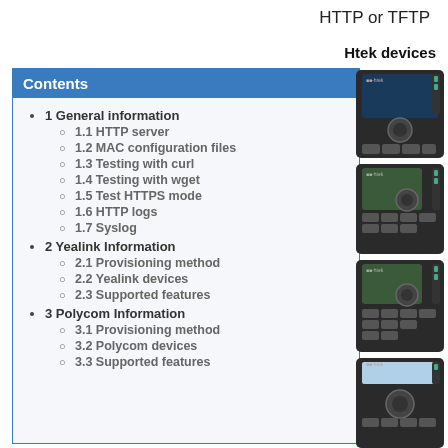HTTP or TFTP
Htek devices
Contents
1 General information
1.1 HTTP server
1.2 MAC configuration files
1.3 Testing with curl
1.4 Testing with wget
1.5 Test HTTPS mode
1.6 HTTP logs
1.7 Syslog
2 Yealink Information
2.1 Provisioning method
2.2 Yealink devices
2.3 Supported features
3 Polycom Information
3.1 Provisioning method
3.2 Polycom devices
3.3 Supported features
[Figure (photo): Four Htek IP phone devices shown on the right side of the page]